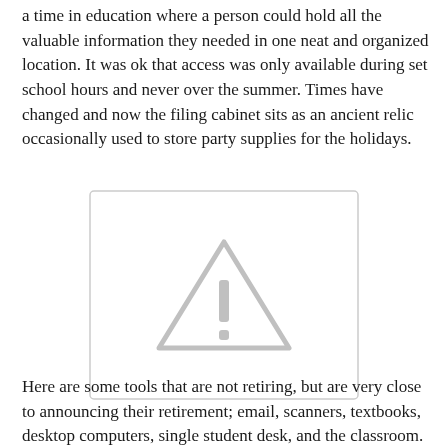a time in education where a person could hold all the valuable information they needed in one neat and organized location. It was ok that access was only available during set school hours and never over the summer. Times have changed and now the filing cabinet sits as an ancient relic occasionally used to store party supplies for the holidays.
[Figure (other): A placeholder image box with a light gray border containing a gray warning/alert triangle icon with an exclamation mark in the center.]
Here are some tools that are not retiring, but are very close to announcing their retirement; email, scanners, textbooks, desktop computers, single student desk, and the classroom.